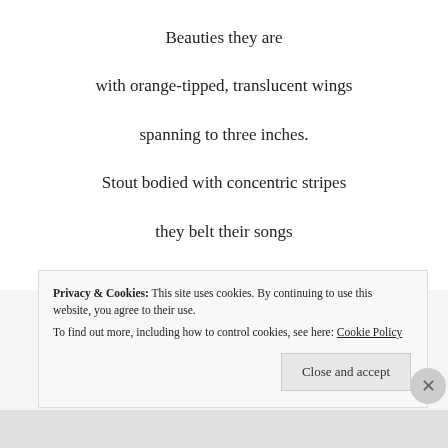Beauties they are
with orange-tipped, translucent wings
spanning to three inches.
Stout bodied with concentric stripes
they belt their songs
and an audible trill pierces
Privacy & Cookies: This site uses cookies. By continuing to use this website, you agree to their use.
To find out more, including how to control cookies, see here: Cookie Policy
Close and accept